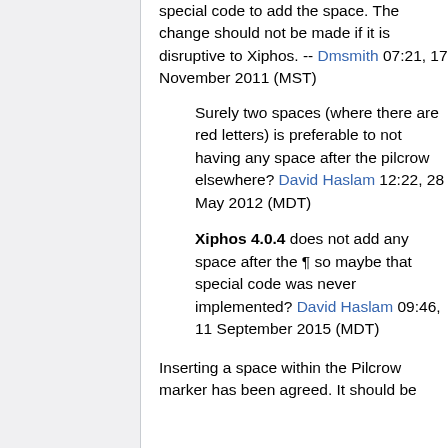special code to add the space. The change should not be made if it is disruptive to Xiphos. -- Dmsmith 07:21, 17 November 2011 (MST)
Surely two spaces (where there are red letters) is preferable to not having any space after the pilcrow elsewhere? David Haslam 12:22, 28 May 2012 (MDT)
Xiphos 4.0.4 does not add any space after the ¶ so maybe that special code was never implemented? David Haslam 09:46, 11 September 2015 (MDT)
Inserting a space within the Pilcrow marker has been agreed. It should be